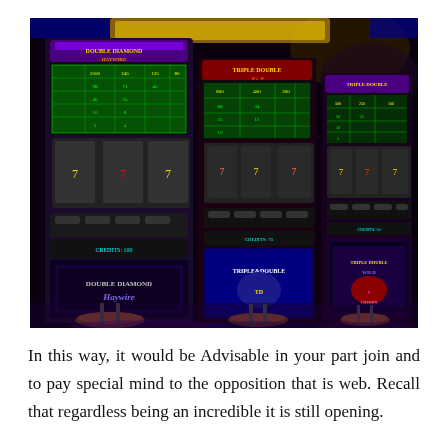[Figure (photo): A row of casino slot machines with colorful displays and illuminated signs in a darkened casino setting. Machines include 'Double Diamond Haywire', 'Triple Double', and 'Triple Double Wild Cherry' branded slots with bar stools in front.]
In this way, it would be Advisable in your part join and to pay special mind to the opposition that is web. Recall that regardless being an incredible it is still opening.